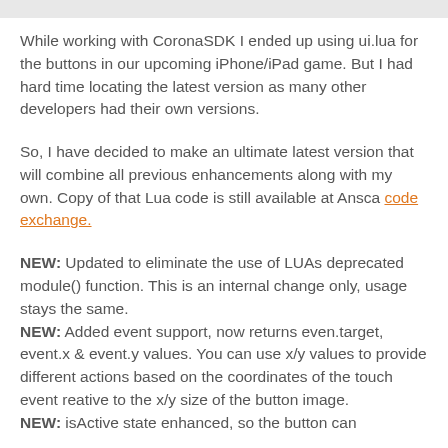While working with CoronaSDK I ended up using ui.lua for the buttons in our upcoming iPhone/iPad game. But I had hard time locating the latest version as many other developers had their own versions.
So, I have decided to make an ultimate latest version that will combine all previous enhancements along with my own. Copy of that Lua code is still available at Ansca code exchange.
NEW: Updated to eliminate the use of LUAs deprecated module() function. This is an internal change only, usage stays the same.
NEW: Added event support, now returns even.target, event.x & event.y values. You can use x/y values to provide different actions based on the coordinates of the touch event reative to the x/y size of the button image.
NEW: isActive state enhanced, so the button can